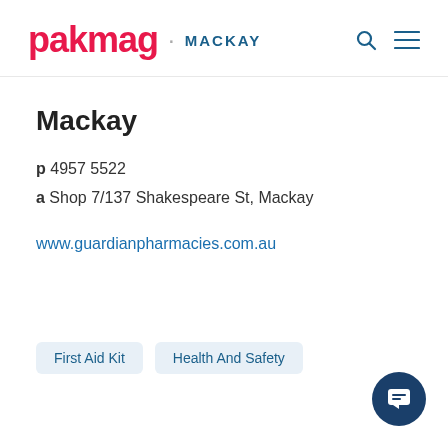pakmag · MACKAY
Mackay
p 4957 5522
a Shop 7/137 Shakespeare St, Mackay
www.guardianpharmacies.com.au
First Aid Kit
Health And Safety